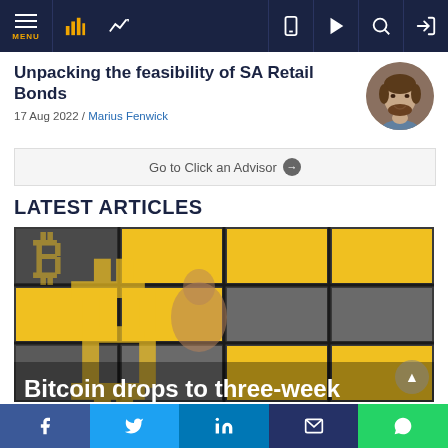MENU [nav icons]
Unpacking the feasibility of SA Retail Bonds
17 Aug 2022 / Marius Fenwick
Go to Click an Advisor ➔
LATEST ARTICLES
[Figure (photo): Bitcoin sign with yellow B logo on grey background with person walking past. Overlay text: Bitcoin drops to three-week]
f  y  in  [email]  [whatsapp]